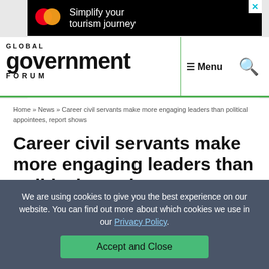[Figure (logo): Mastercard advertisement banner: 'Simplify your tourism journey' on black background with Mastercard logo]
[Figure (logo): Global Government Forum logo with navigation menu and search icon]
Home » News » Career civil servants make more engaging leaders than political appointees, report shows
Career civil servants make more engaging leaders than political appointees, report shows
We are using cookies to give you the best experience on our website. You can find out more about which cookies we use in our Privacy Policy.